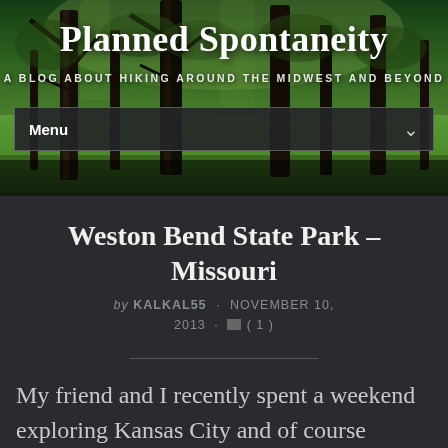[Figure (photo): Header photo of a forest/park scene with trees and green foliage, used as blog banner background]
Planned Spontaneity
A BLOG ABOUT HIKING AROUND THE MIDWEST AND BEYOND
Menu
Weston Bend State Park – Missouri
by KALKAL55 · NOVEMBER 10, 2013 · (1)
My friend and I recently spent a weekend exploring Kansas City and of course hiking